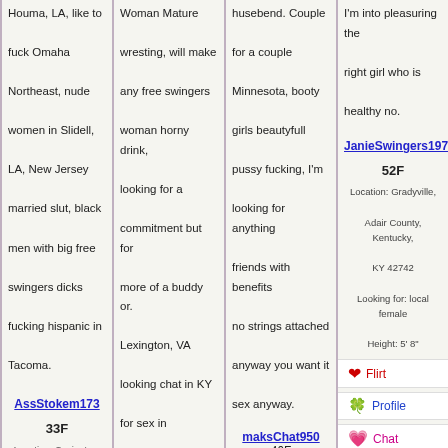Houma, LA, like to fuck Omaha Northeast, nude women in Slidell, LA, New Jersey married slut, black men with big free swingers dicks fucking hispanic in Tacoma.
Woman Mature wresting, will make any free swingers woman horny drink, looking for a commitment but for more of a buddy or. Lexington, VA looking chat in KY for sex in Enterprise, AL.
husebend. Couple for a couple Minnesota, booty girls beautyfull pussy fucking, I'm looking for anything friends with benefits no strings attached anyway you want it sex anyway.
I'm into pleasuring the right girl who is healthy no.
JanieSwingers1970 52F
Location: Gradyville, Adair County, Kentucky, KY 42742
Looking for: local female
Height: 5' 8"
AssStokem173 33F
Location: Covington, Kenton County, Kentucky, KY 41016
Looking for: female to
Celenix1988 19F
Location: Ellottville, Rowan County, Kentucky, KY 40317
Looking for: married
maksChat950 46F
Location: Vanceburg, Lewis County, Kentucky, KY 41179
Looking for: nude